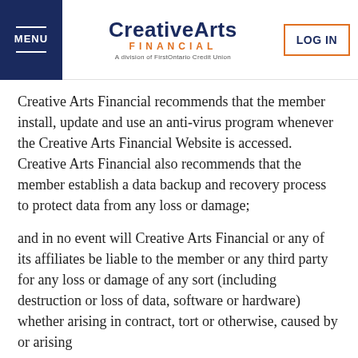MENU | CreativeArts FINANCIAL A division of FirstOntario Credit Union | LOG IN
Creative Arts Financial recommends that the member install, update and use an anti-virus program whenever the Creative Arts Financial Website is accessed. Creative Arts Financial also recommends that the member establish a data backup and recovery process to protect data from any loss or damage;
and in no event will Creative Arts Financial or any of its affiliates be liable to the member or any third party for any loss or damage of any sort (including destruction or loss of data, software or hardware) whether arising in contract, tort or otherwise, caused by or arising